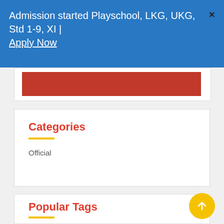Admission started Playschool, LKG, UKG, Std 1-9, XI | Apply Now  ✕
[Figure (other): Partial red banner strip from card above]
Categories
Official
Popular Tags